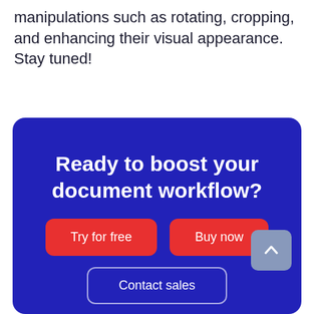manipulations such as rotating, cropping, and enhancing their visual appearance. Stay tuned!
[Figure (infographic): Blue rounded banner with heading 'Ready to boost your document workflow?', two red buttons 'Try for free' and 'Buy now', and a partially visible 'Contact sales' button. A scroll-up arrow button appears in the bottom right corner of the banner.]